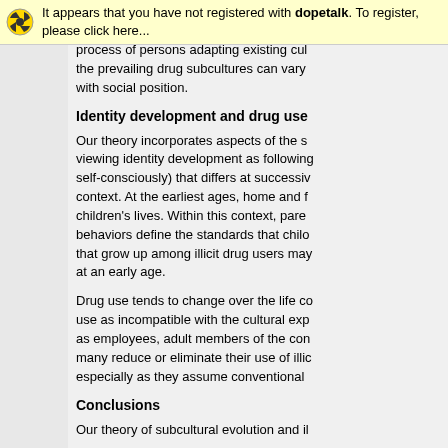It appears that you have not registered with dopetalk. To register, please click here...
process of persons adapting existing cultures to the prevailing drug subcultures can vary with social position.
Identity development and drug use
Our theory incorporates aspects of the s viewing identity development as following self-consciously) that differs at successively context. At the earliest ages, home and f children's lives. Within this context, pare behaviors define the standards that chilo that grow up among illicit drug users may at an early age.
Drug use tends to change over the life c use as incompatible with the cultural exp as employees, adult members of the con many reduce or eliminate their use of illic especially as they assume conventional
Conclusions
Our theory of subcultural evolution and il